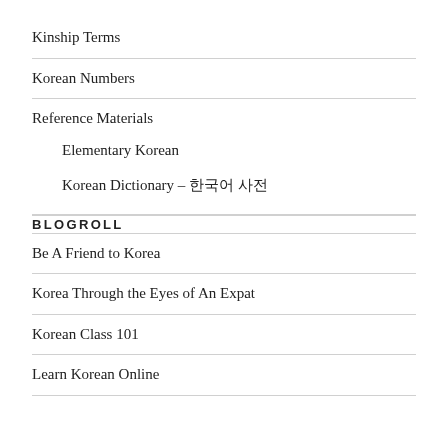Kinship Terms
Korean Numbers
Reference Materials
Elementary Korean
Korean Dictionary – 한국어 사전
BLOGROLL
Be A Friend to Korea
Korea Through the Eyes of An Expat
Korean Class 101
Learn Korean Online